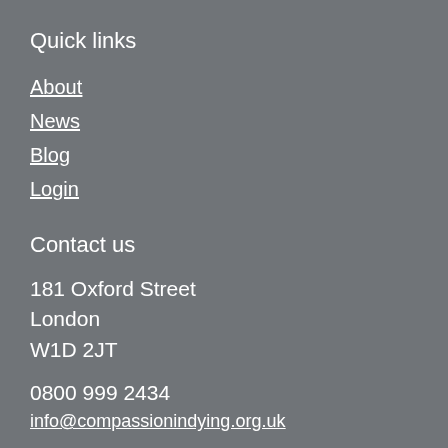Quick links
About
News
Blog
Login
Contact us
181 Oxford Street
London
W1D 2JT
0800 999 2434
info@compassionindying.org.uk